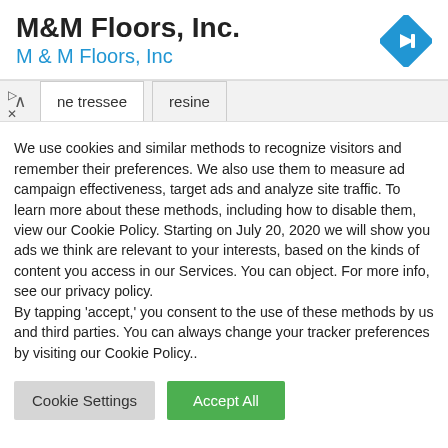M&M Floors, Inc.
M & M Floors, Inc
We use cookies and similar methods to recognize visitors and remember their preferences. We also use them to measure ad campaign effectiveness, target ads and analyze site traffic. To learn more about these methods, including how to disable them, view our Cookie Policy. Starting on July 20, 2020 we will show you ads we think are relevant to your interests, based on the kinds of content you access in our Services. You can object. For more info, see our privacy policy.
By tapping ‘accept,’ you consent to the use of these methods by us and third parties. You can always change your tracker preferences by visiting our Cookie Policy..
Cookie Settings
Accept All